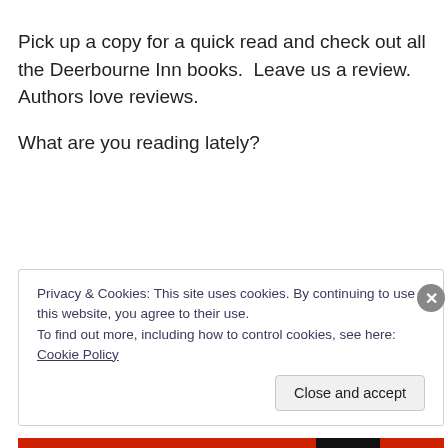Pick up a copy for a quick read and check out all the Deerbourne Inn books.  Leave us a review.  Authors love reviews.
What are you reading lately?
Privacy & Cookies: This site uses cookies. By continuing to use this website, you agree to their use.
To find out more, including how to control cookies, see here: Cookie Policy